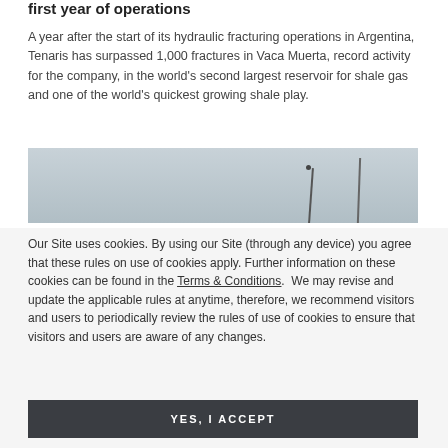first year of operations
A year after the start of its hydraulic fracturing operations in Argentina, Tenaris has surpassed 1,000 fractures in Vaca Muerta, record activity for the company, in the world's second largest reservoir for shale gas and one of the world's quickest growing shale play.
[Figure (photo): Partial photo of an outdoor industrial/field scene with utility poles or equipment lines against a pale sky, partially visible.]
Our Site uses cookies. By using our Site (through any device) you agree that these rules on use of cookies apply. Further information on these cookies can be found in the Terms & Conditions. We may revise and update the applicable rules at anytime, therefore, we recommend visitors and users to periodically review the rules of use of cookies to ensure that visitors and users are aware of any changes.
YES, I ACCEPT